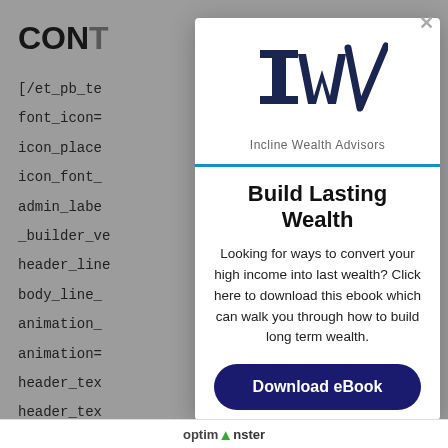CONT
[/et_pb_te
font_icon=
icon_place
icon_font_
admin_labe
_builder_ve
header_line
body_line_
animation_
animation=
header_tex
header_tex
header_tex
body_text_shadow_horizontal_length_tablet="0px"
[Figure (logo): Incline Wealth Advisors logo — stylized 'Iw' with a checkmark, dark navy blue]
Build Lasting Wealth
Looking for ways to convert your high income into last wealth? Click here to download this ebook which can walk you through how to build long term wealth.
Download eBook
optinmonster